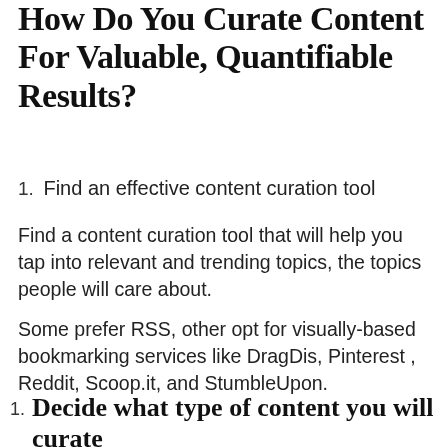How Do You Curate Content For Valuable, Quantifiable Results?
1. Find an effective content curation tool
Find a content curation tool that will help you tap into relevant and trending topics, the topics people will care about.
Some prefer RSS, other opt for visually-based bookmarking services like DragDis, Pinterest , Reddit, Scoop.it, and StumbleUpon.
1. Decide what type of content you will curate